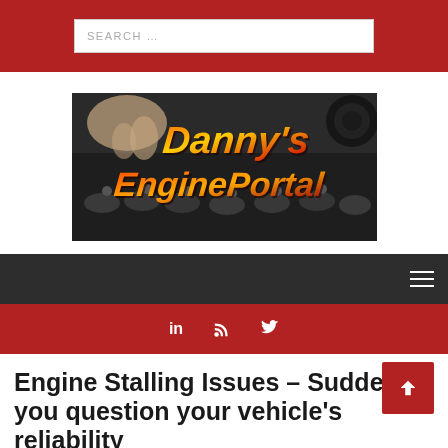SEARCH ...
[Figure (logo): Danny's EnginePortal logo with engine parts in background and stylized text]
[Figure (other): Navigation bar with hamburger menu icon on dark background]
[Figure (other): Red social media bar with LinkedIn, RSS, and Twitter icons]
Engine Stalling Issues – Suddenly, you question your vehicle's reliability